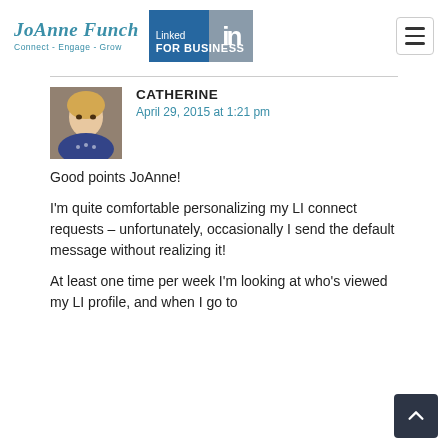JoAnne Funch Connect - Engage - Grow | LinkedIn For Business
CATHERINE
April 29, 2015 at 1:21 pm
Good points JoAnne!
I'm quite comfortable personalizing my LI connect requests – unfortunately, occasionally I send the default message without realizing it!
At least one time per week I'm looking at who's viewed my LI profile, and when I go to